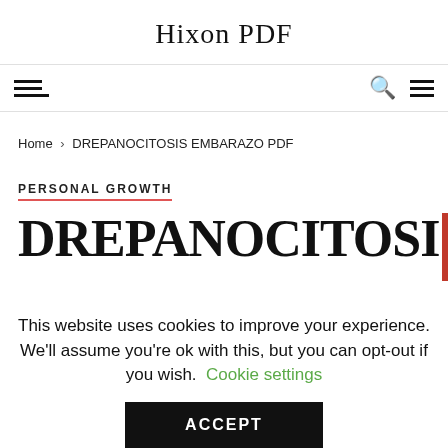Hixon PDF
Home › DREPANOCITOSIS EMBARAZO PDF
PERSONAL GROWTH
DREPANOCITOSIS
This website uses cookies to improve your experience. We'll assume you're ok with this, but you can opt-out if you wish. Cookie settings ACCEPT